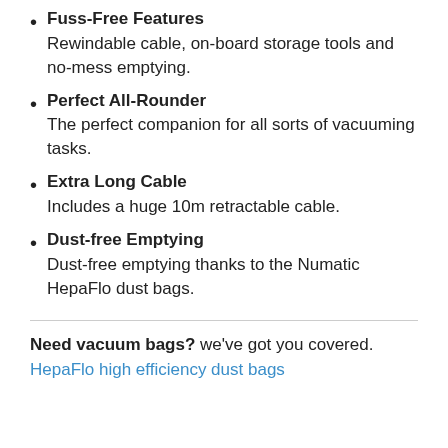Fuss-Free Features
Rewindable cable, on-board storage tools and no-mess emptying.
Perfect All-Rounder
The perfect companion for all sorts of vacuuming tasks.
Extra Long Cable
Includes a huge 10m retractable cable.
Dust-free Emptying
Dust-free emptying thanks to the Numatic HepaFlo dust bags.
Need vacuum bags? we've got you covered. HepaFlo high efficiency dust bags